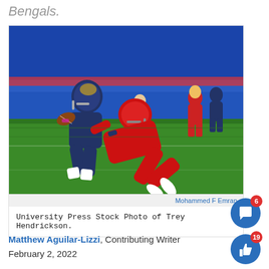Bengals.
[Figure (photo): Football action photo showing a player in a red uniform (number 9) tackling a player in a navy/dark uniform carrying the ball, on a green grass field with blue stadium background and other players visible.]
Mohammed F Emran
University Press Stock Photo of Trey Hendrickson.
Matthew Aguilar-Lizzi, Contributing Writer
February 2, 2022